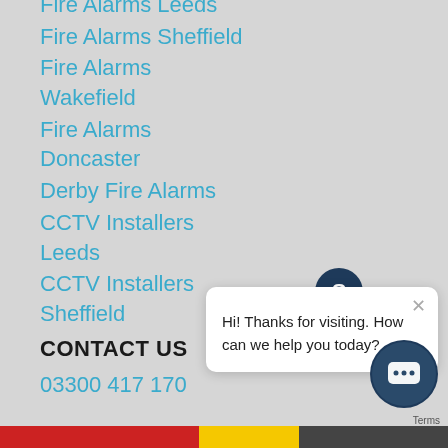Fire Alarms Leeds
Fire Alarms Sheffield
Fire Alarms Wakefield
Fire Alarms Doncaster
Derby Fire Alarms
CCTV Installers Leeds
CCTV Installers Sheffield
CONTACT US
03300 417 170
[Figure (other): Chat widget popup with logo icon showing message: Hi! Thanks for visiting. How can we help you today?]
[Figure (other): Chat support button (round dark blue icon with message bubble)]